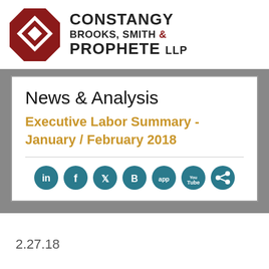[Figure (logo): Constangy Brooks Smith & Prophete LLP law firm logo with red octagon diamond shape and firm name in bold black text]
News & Analysis
Executive Labor Summary - January / February 2018
[Figure (infographic): Social media icons row: LinkedIn, Facebook, Twitter, Blogger, App, YouTube, Share — teal circular buttons]
2.27.18